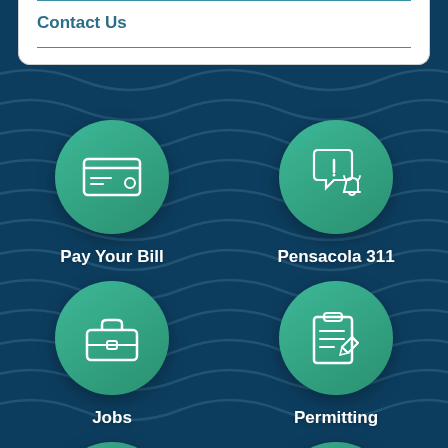Contact Us
[Figure (infographic): City of Pensacola website screenshot showing quick-access icon buttons on a dark blue wave-patterned background. Row 1: Pay Your Bill (credit card icon) and Pensacola 311 (chat/alert bell icon). Row 2: Jobs (briefcase icon) and Permitting (clipboard/pencil icon). Row 3 (partial): two more icons visible at bottom — tree icon and calendar/star icon.]